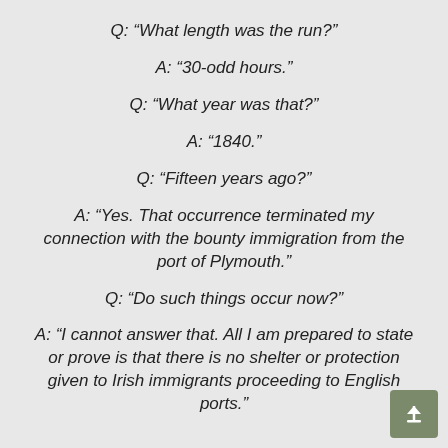Q: “What length was the run?”
A: “30-odd hours.”
Q: “What year was that?”
A: “1840.”
Q: “Fifteen years ago?”
A: “Yes. That occurrence terminated my connection with the bounty immigration from the port of Plymouth.”
Q: “Do such things occur now?”
A: “I cannot answer that. All I am prepared to state or prove is that there is no shelter or protection given to Irish immigrants proceeding to English ports.”